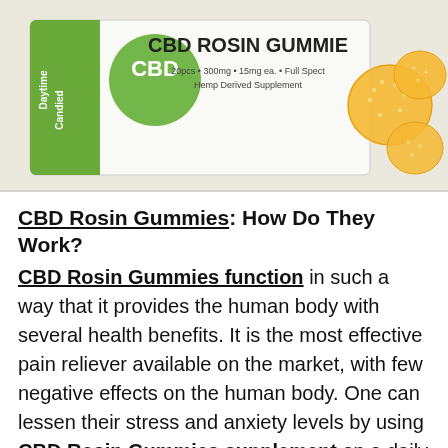[Figure (photo): Product photo of CBD Rosin Gummies box — white/green box labeled 'Daytime Candied', showing text 'CBD ROSIN GUMMIES 20pcs · 300mg · 15mg ea. · Full Spectrum Hemp Derived Supplement', with orange sugar-coated gummy candies on the right side.]
CBD Rosin Gummies: How Do They Work?
CBD Rosin Gummies function in such a way that it provides the human body with several health benefits. It is the most effective pain reliever available on the market, with few negative effects on the human body. One can lessen their stress and anxiety levels by using CBD Rosin Gummies supplement on a daily basis. Any sort of pain, whether chronic or acute, can be conquered. Your immune system is also boosted, and the human body